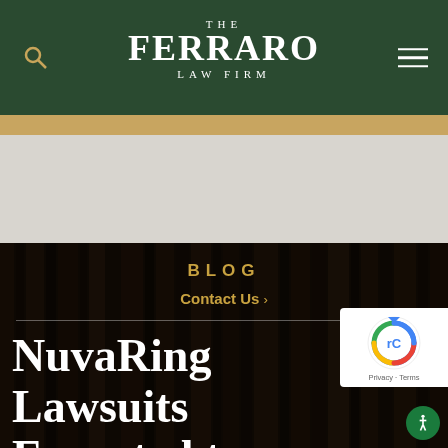THE FERRARO LAW FIRM
BLOG
Contact Us ›
NuvaRing Lawsuits Expected to Reach Trial Phase in 2014